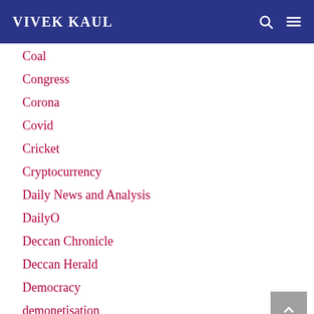VIVEK KAUL
Coal
Congress
Corona
Covid
Cricket
Cryptocurrency
Daily News and Analysis
DailyO
Deccan Chronicle
Deccan Herald
Democracy
demonetisation